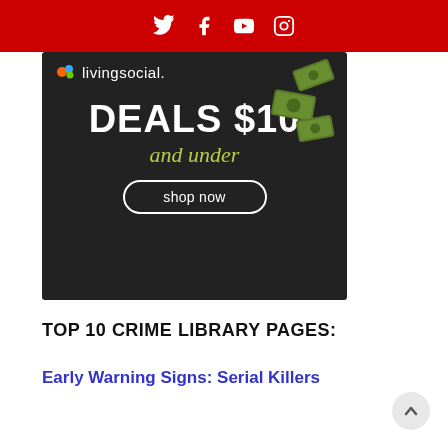Social media icons: Twitter, Facebook, YouTube, Instagram
[Figure (illustration): LivingSocial advertisement banner on dark background. Shows 'livingsocial.' logo with colorful dots, illustrated green money bills flying, large white text 'DEALS $10' and olive/yellow-green italic text 'and under', and a white oval outlined button 'shop now'.]
TOP 10 CRIME LIBRARY PAGES:
Early Warning Signs: Serial Killers